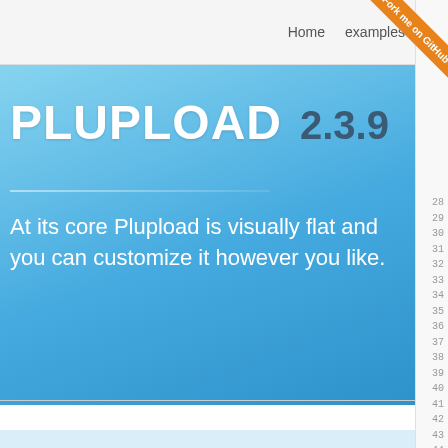Home  examples
[Figure (screenshot): GitHub Fork me ribbon in orange at top-right corner]
Plupload 2.3.9
At its core Plupload is visually flat and you can customize it however you like.
[Figure (screenshot): Line numbers column on right side showing numbers 28-46]